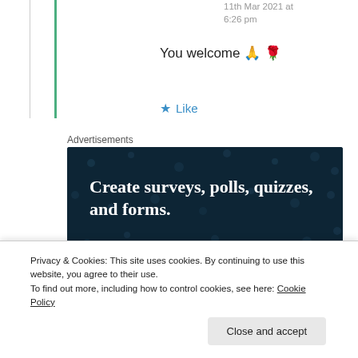11th Mar 2021 at 6:26 pm
You welcome 🙏 🌹
★ Like
Advertisements
[Figure (screenshot): Advertisement banner with dark navy background and dot pattern. Text reads: 'Create surveys, polls, quizzes, and forms.' with a pink 'Start now' button.]
Privacy & Cookies: This site uses cookies. By continuing to use this website, you agree to their use.
To find out more, including how to control cookies, see here: Cookie Policy
Close and accept